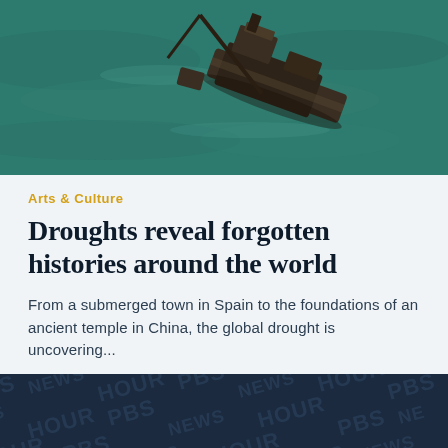[Figure (photo): Aerial view of a shipwreck partially submerged in dark teal-green water, viewed from above. The wreck appears dark brown/black against the water surface.]
Arts & Culture
Droughts reveal forgotten histories around the world
From a submerged town in Spain to the foundations of an ancient temple in China, the global drought is uncovering...
[Figure (logo): PBS NewsHour logo repeated as a dark navy background pattern with text PBS NEWS HOUR repeated diagonally in slightly lighter navy color.]